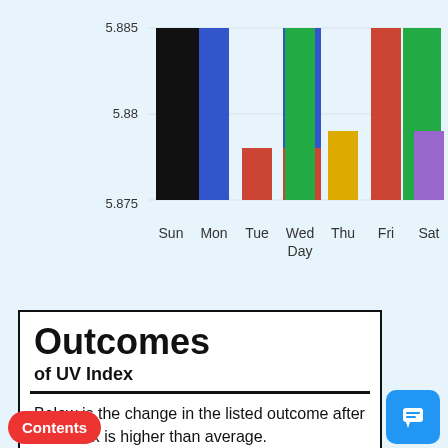[Figure (bar-chart): UV Index by Day]
Outcomes
of UV Index
Below is the change in the listed outcome after UV Index is higher than average.
Filter by name...
Sort by Effect Size
Sort by Confidence
% Change from Baseline*